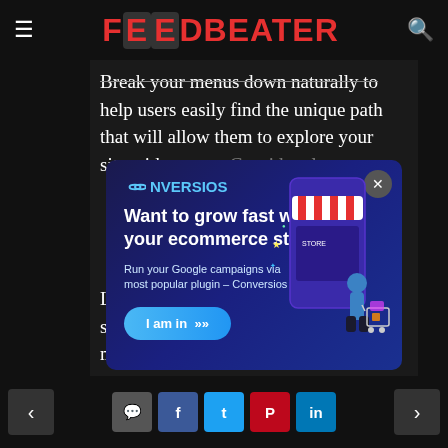FOODBEATER
Break your menus down naturally to help users easily find the unique path that will allow them to explore your site without any...
[Figure (infographic): CONVERSIOS ad popup with dark blue gradient background. Shows logo 'CONVERSIOS' in top left with infinity symbol, headline 'Want to grow fast with your ecommerce store?', subtext 'Run your Google campaigns via most popular plugin – Conversios', a blue 'I am in »' button, and an illustrated woman with shopping cart next to a storefront on the right side. Close button (X) in top right corner.]
Let's look at a company that successfully uses intuitive navigation menus to enhance its user experience
Navigation arrows and social sharing icons: comment, Facebook, Twitter, Pinterest, LinkedIn